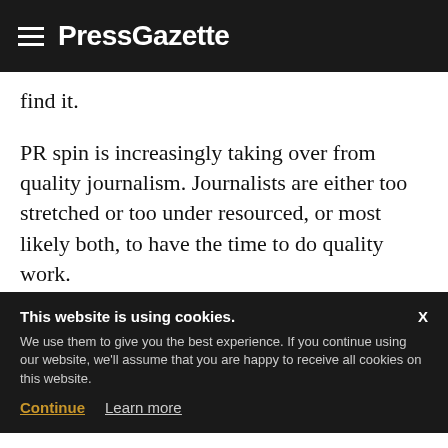PressGazette
find it.
PR spin is increasingly taking over from quality journalism. Journalists are either too stretched or too under resourced, or most likely both, to have the time to do quality work.
A worryingly growing number of publishers are not prepared to pay, or journalism. Part then they can rely on the r e them
This website is using cookies. We use them to give you the best experience. If you continue using our website, we'll assume that you are happy to receive all cookies on this website. Continue  Learn more